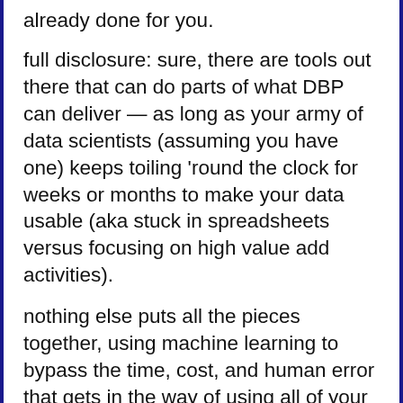already done for you.
full disclosure: sure, there are tools out there that can do parts of what DBP can deliver — as long as your army of data scientists (assuming you have one) keeps toiling 'round the clock for weeks or months to make your data usable (aka stuck in spreadsheets versus focusing on high value add activities).
nothing else puts all the pieces together, using machine learning to bypass the time, cost, and human error that gets in the way of using all of your data, all the time — automatically, with all the security and